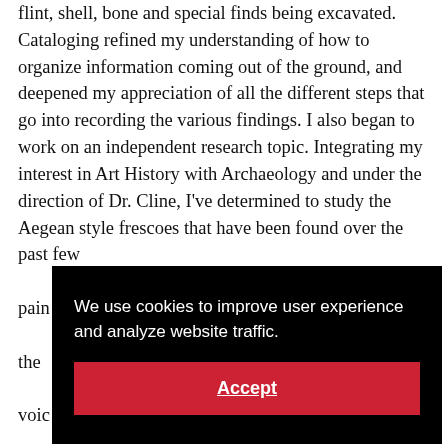flint, shell, bone and special finds being excavated. Cataloging refined my understanding of how to organize information coming out of the ground, and deepened my appreciation of all the different steps that go into recording the various findings. I also began to work on an independent research topic. Integrating my interest in Art History with Archaeology and under the direction of Dr. Cline, I've determined to study the Aegean style frescoes that have been found over the past few [text obscured] paintings [text obscured] the [text obscured] voic[text obscured] Arch[text obscured] rigors. A typical day on the Tel Kabri dig begins
[Figure (screenshot): Cookie consent overlay with black background. Text reads: 'We use cookies to improve user experience and analyze website traffic.' Below is a red 'Accept' button with underlined text.]